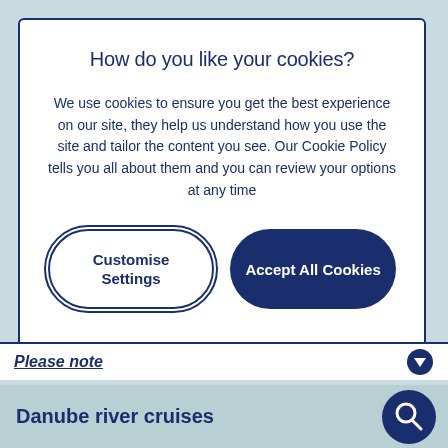How do you like your cookies?
We use cookies to ensure you get the best experience on our site, they help us understand how you use the site and tailor the content you see. Our Cookie Policy tells you all about them and you can review your options at any time
Customise Settings
Accept All Cookies
Please note
Danube river cruises